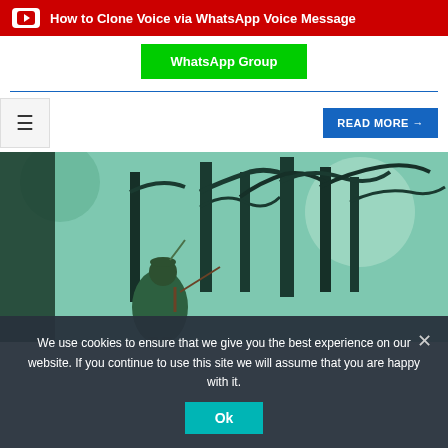[Figure (screenshot): YouTube banner with red background, YouTube icon and text 'How to Clone Voice via WhatsApp Voice Message']
WhatsApp Group
READ MORE →
[Figure (illustration): Animated forest scene with a hooded figure (Robin Hood style) among dark trees with teal/green foggy background]
We use cookies to ensure that we give you the best experience on our website. If you continue to use this site we will assume that you are happy with it.
Ok